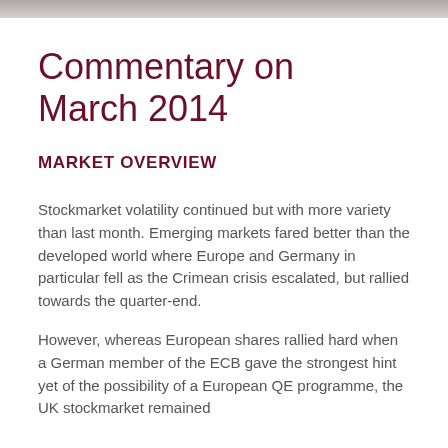Commentary on March 2014
MARKET OVERVIEW
Stockmarket volatility continued but with more variety than last month. Emerging markets fared better than the developed world where Europe and Germany in particular fell as the Crimean crisis escalated, but rallied towards the quarter-end.
However, whereas European shares rallied hard when a German member of the ECB gave the strongest hint yet of the possibility of a European QE programme, the UK stockmarket remained